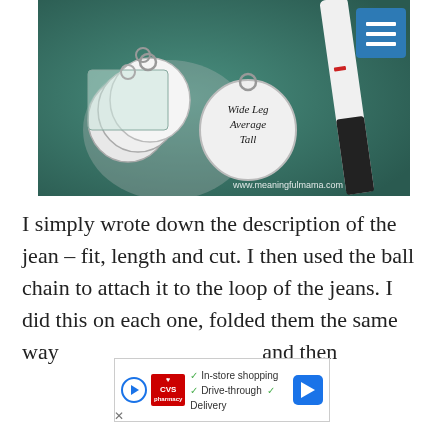[Figure (photo): Photo of white circular key tags on a green surface next to a marker pen. One tag in focus reads 'Wide Leg Average Tall' in handwriting. A small square container holds multiple blank tags. Watermark reads www.meaningfulmama.com. A blue hamburger menu icon appears in the top right corner.]
I simply wrote down the description of the jean – fit, length and cut. I then used the ball chain to attach it to the loop of the jeans. I did this on each one, folded them the same way and then
[Figure (other): CVS Pharmacy advertisement overlay showing In-store shopping, Drive-through, and Delivery options with a navigation arrow icon.]